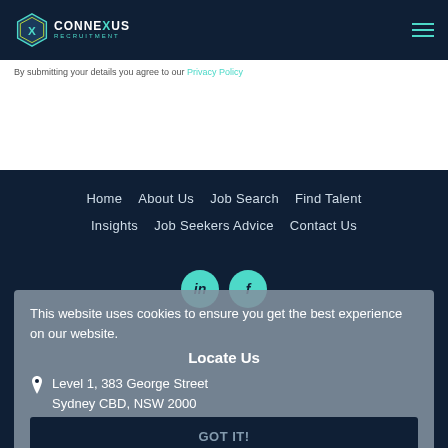Connexus Recruitment
By submitting your details you agree to our Privacy Policy
Home   About Us   Job Search   Find Talent   Insights   Job Seekers Advice   Contact Us
[Figure (logo): LinkedIn and Facebook social icons (teal circles with 'in' and 'f')]
This website uses cookies to ensure you get the best experience on our website.
Locate Us
Level 1, 383 George Street
Sydney CBD, NSW 2000
GOT IT!
Contact Us